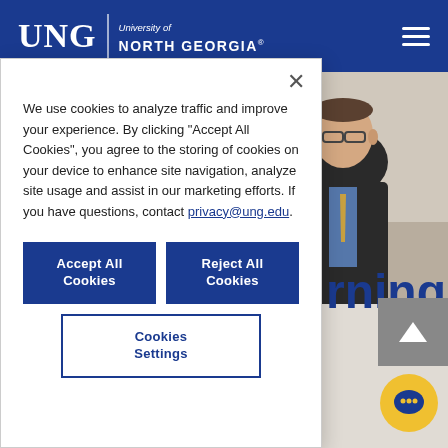UNG University of North Georgia
[Figure (photo): Man in dark suit and tie seated at a table, partial view, in a meeting or conference setting]
rning
rticipating pro Geo ent aculty from
We use cookies to analyze traffic and improve your experience. By clicking “Accept All Cookies”, you agree to the storing of cookies on your device to enhance site navigation, analyze site usage and assist in our marketing efforts. If you have questions, contact privacy@ung.edu.
Accept All Cookies
Reject All Cookies
Cookies Settings